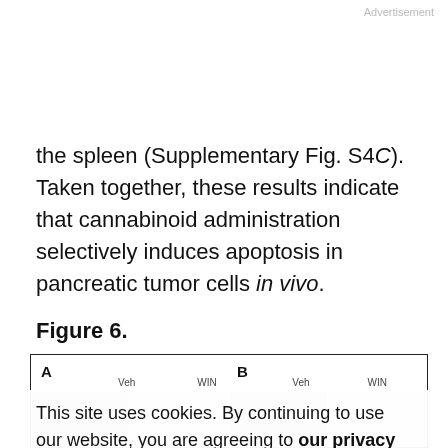Advertisement
the spleen (Supplementary Fig. S4C). Taken together, these results indicate that cannabinoid administration selectively induces apoptosis in pancreatic tumor cells in vivo.
Figure 6.
[Figure (photo): Figure 6 panel A and B showing microscopy images with Veh and WIN columns for two panels (A and B), partially obscured by cookie consent banner.]
This site uses cookies. By continuing to use our website, you are agreeing to our privacy policy. Accept